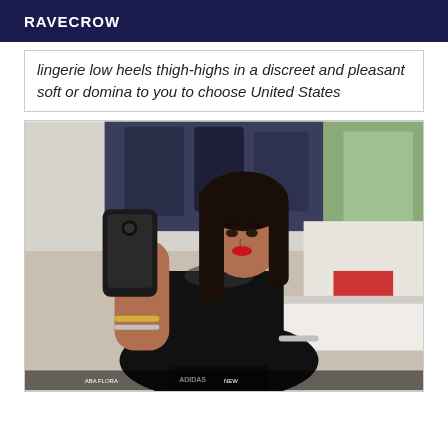RAVECROW
lingerie low heels thigh-highs in a discreet and pleasant soft or domina to you to choose United States
[Figure (photo): A young woman taking a mirror selfie with a smartphone, wearing a black sheer top, with long dark hair, red lipstick, and bracelets. Clothes hanging in the background.]